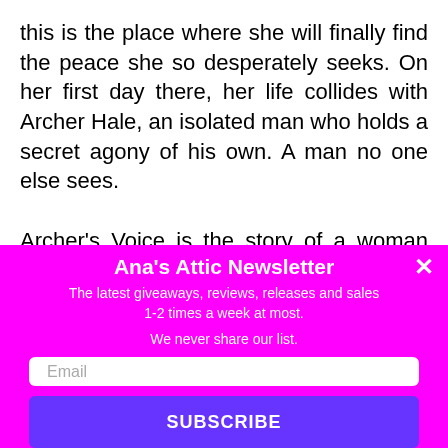this is the place where she will finally find the peace she so desperately seeks. On her first day there, her life collides with Archer Hale, an isolated man who holds a secret agony of his own. A man no one else sees.

Archer's Voice is the story of a woman chained to the memory of one horrifying night and the man whose love is the key to her freedom. It is the story
[Figure (screenshot): Newsletter popup overlay with magenta/purple background. Title: Ana's Attic Newsletter. Subtitle: The latest giveaways, reviews, releases and sales. Note: 1-2 times a week at most. Privacy: We never share our list. Email input field and SUBSCRIBE button. Close X button in top right.]